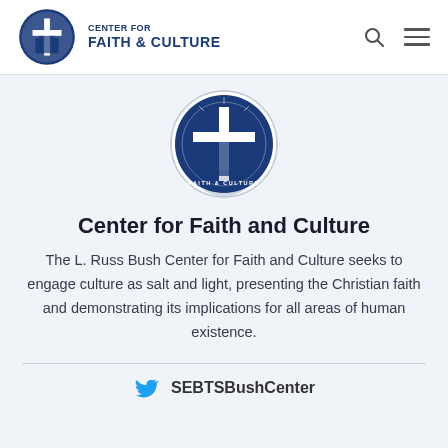[Figure (logo): Center for Faith & Culture circular logo in header, blue and white]
CENTER FOR FAITH & CULTURE
[Figure (logo): Large Center for Faith & Culture circular seal/logo in content area]
Center for Faith and Culture
The L. Russ Bush Center for Faith and Culture seeks to engage culture as salt and light, presenting the Christian faith and demonstrating its implications for all areas of human existence.
SEBTSBushCenter